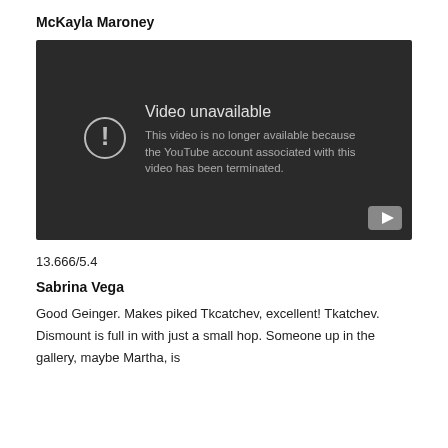McKayla Maroney
[Figure (screenshot): YouTube video unavailable placeholder with dark background. Shows error icon (exclamation mark in circle) and text: 'Video unavailable. This video is no longer available because the YouTube account associated with this video has been terminated.' YouTube play button icon in bottom right corner.]
13.666/5.4
Sabrina Vega
Good Geinger. Makes piked Tkcatchev, excellent! Tkatchev. Dismount is full in with just a small hop. Someone up in the gallery, maybe Martha, is